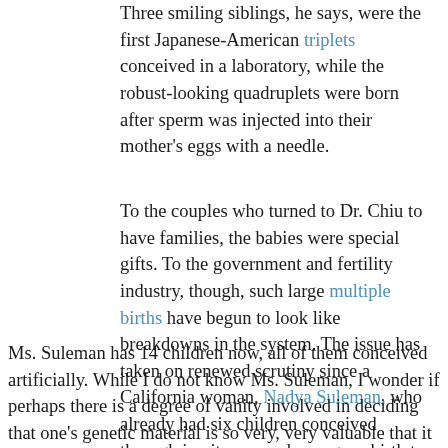Three smiling siblings, he says, were the first Japanese-American triplets conceived in a laboratory, while the robust-looking quadruplets were born after sperm was injected into their mother's eggs with a needle.
To the couples who turned to Dr. Chiu to have families, the babies were special gifts. To the government and fertility industry, though, such large multiple births have begun to look like breakdowns in the system. The issue has taken on renewed scrutiny since a California woman, Nadya Suleman, who already had six children conceived through in vitro procedures, gave birth to octuplets near here last month.
Ms. Suleman has 14 children now, all of them conceived artificially. While I do not know Ms. Suleman, I wonder if perhaps there is a degree of vanity involved in deciding that one's genetic material is so very, very valuable that it should be propogated well beyond usual numbers. Particularly through artificial means. It is also questionable how ethical it was to implant [edit — six] embryos in the first place.